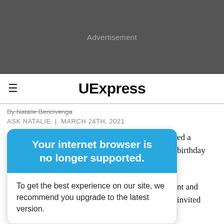[Figure (other): Advertisement banner placeholder with dark gray background]
UExpress
By Natalie Bencivenga
ASK NATALIE | MARCH 24TH, 2021
Your internet browser is no longer supported.
To get the best experience on our site, we recommend you upgrade to the latest version.
ed a birthday
nt and invited
grown
grandchildren; all of whom are heavy drinkers and